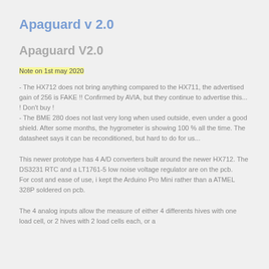Apaguard v 2.0
Apaguard V2.0
Note on 1st may 2020
- The HX712 does not bring anything compared to the HX711, the advertised gain of 256 is FAKE !! Confirmed by AVIA, but they continue to advertise this... ! Don't buy !
- The BME 280 does not last very long when used outside, even under a good shield. After some months, the hygrometer is showing 100 % all the time. The datasheet says it can be reconditioned, but hard to do for us...
This newer prototype has 4 A/D converters built around the newer HX712. The DS3231 RTC and a LT1761-5 low noise voltage regulator are on the pcb.
For cost and ease of use, i kept the Arduino Pro Mini rather than a ATMEL 328P soldered on pcb.
The 4 analog inputs allow the measure of either 4 differents hives with one load cell, or 2 hives with 2 load cells each, or a